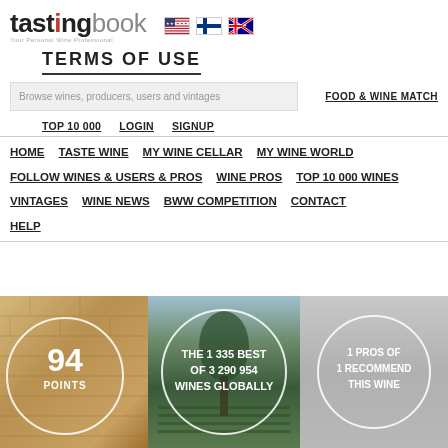tastingbook — Your Personal Wine Professional
TERMS OF USE
Browse wines, producers, users and vintages
FOOD & WINE MATCH
TOP 10 000
LOGIN
SIGNUP
HOME
TASTE WINE
MY WINE CELLAR
MY WINE WORLD
FOLLOW WINES & USERS & PROS
WINE PROS
TOP 10 000 WINES
VINTAGES
WINE NEWS
BWW COMPETITION
CONTACT
HELP
[Figure (infographic): Three panel image at page bottom. Left panel: stone/brick texture background with a circle containing '94 POINTS'. Center panel: vineyard/landscape photo with a circle containing 'THE 1 335 BEST OF 3 290 954 WINES GLOBALLY'. Right panel: grey misty background with a circle containing '1 PROS OF 1 RECOMMEND THIS WINE'.]